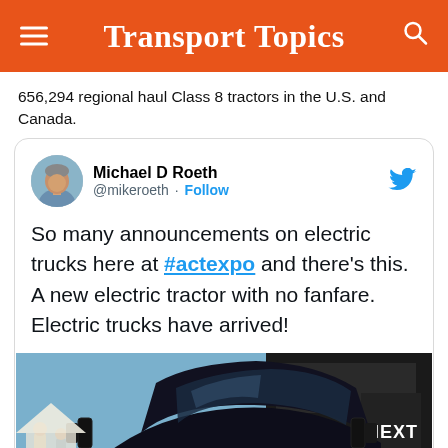Transport Topics
656,294 regional haul Class 8 tractors in the U.S. and Canada.
[Figure (screenshot): Embedded tweet from Michael D Roeth (@mikeroeth) with Twitter Follow button and blue Twitter bird logo. Tweet text: 'So many announcements on electric trucks here at #actexpo and there's this. A new electric tractor with no fanfare. Electric trucks have arrived!' Below the text is a photo of a black electric semi truck (front/hood view) at an outdoor event, with people visible in the background and a sign reading 'NEXT'.]